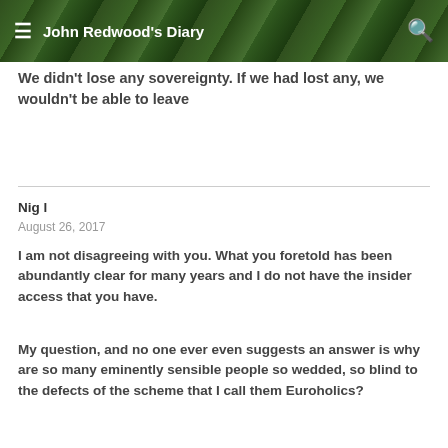John Redwood's Diary
We didn't lose any sovereignty. If we had lost any, we wouldn't be able to leave
Nig l
August 26, 2017
I am not disagreeing with you. What you foretold has been abundantly clear for many years and I do not have the insider access that you have.
My question, and no one ever even suggests an answer is why are so many eminently sensible people so wedded, so blind to the defects of the scheme that I call them Euroholics?